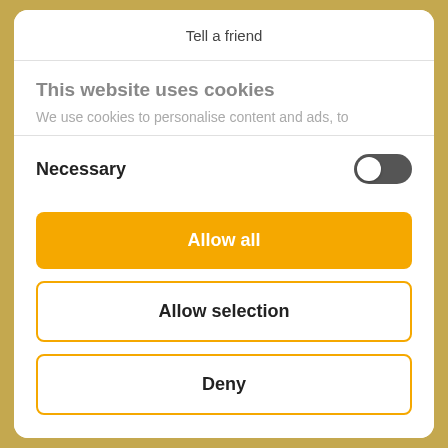Tell a friend
This website uses cookies
We use cookies to personalise content and ads, to
Necessary
Allow all
Allow selection
Deny